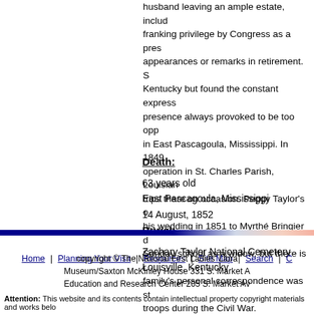husband leaving an ample estate, including franking privilege by Congress as a president's widow, avoiding public appearances or remarks in retirement. She returned to Kentucky but found the constant expression of sympathy at her husband's presence always provoked to be too oppressive and moved in East Pascagoula, Mississippi. In 1849 she visited a sugar operation in St. Charles Parish, Louisiana, making occasional trips there on occasion. Peggy Taylor's only son Richard had his wedding in 1851 to Myrthé Bringier de la Côté. She taught Sunday school as a widow, but there is no record that the family's personal correspondence was stolen by Union troops during the Civil War.
Death:
63 years old
East Pascagoula, Mississippi
14 August, 1852
Burial:
Zachary Taylor National Cemetery
Louisville, Kentucky
Home | Planning Your Visit | Resources | Site Map | Search | C
copyright © The National First Ladies' Library Museum/Saxton McKinley House 331 S. Market A Education and Research Center 205 S. Market Av
Attention: This website and its contents contain intellectual property copyright materials and works belo